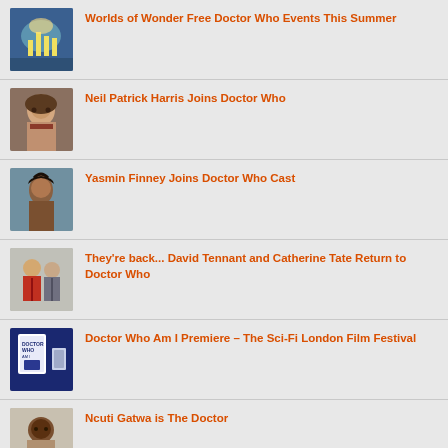Worlds of Wonder Free Doctor Who Events This Summer
Neil Patrick Harris Joins Doctor Who
Yasmin Finney Joins Doctor Who Cast
They're back... David Tennant and Catherine Tate Return to Doctor Who
Doctor Who Am I Premiere – The Sci-Fi London Film Festival
Ncuti Gatwa is The Doctor